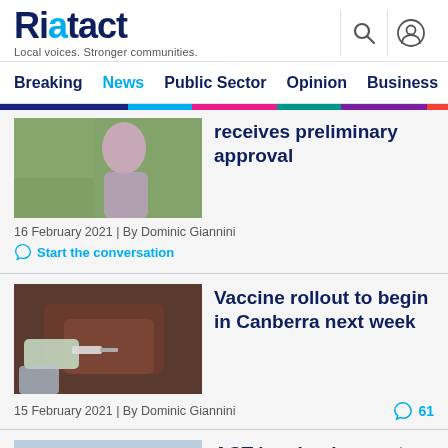Riotact — Local voices. Stronger communities.
Breaking  News  Public Sector  Opinion  Business  R…
[Figure (photo): Photo of a person outdoors, partially visible, article thumbnail]
receives preliminary approval
16 February 2021 | By Dominic Giannini
Start the conversation
[Figure (photo): Photo of a healthcare worker giving a vaccine injection to a patient's arm]
Vaccine rollout to begin in Canberra next week
15 February 2021 | By Dominic Giannini
61 comments
[Figure (photo): Partial thumbnail for third article, blurred/medical theme]
ACT lagging in race to